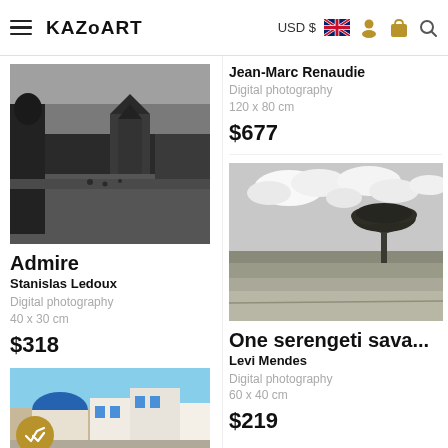KAZoART — USD $ — navigation header with hamburger menu, currency selector, UK flag, user icon, cart icon, search icon
[Figure (photo): Black and white photograph of a person in traditional clothing overlooking a temple and city square, possibly Nepal]
Admire
Stanislas Ledoux
Digital photography
40 x 30 cm
$318
[Figure (photo): Partial view of a colorful Mediterranean street scene with blue domes, partially obscured by a gold badge with checkmarks]
Jean-Marc Renaudie
Digital photography
120 x 80 cm
$677
[Figure (photo): Black and white photograph of a lone acacia tree on the Serengeti savanna with dramatic cloudy sky]
One serengeti sava...
Levi Mendes
Digital photography
60 x 40 cm
$219